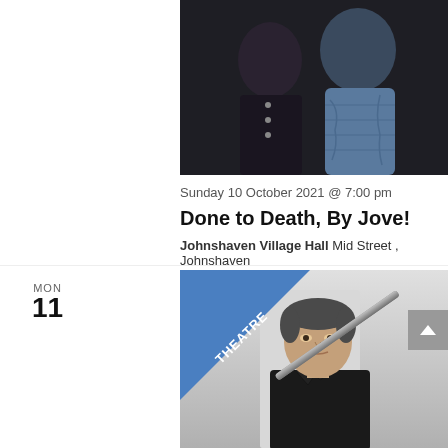[Figure (photo): Two people standing together in dark clothing against a dark background, partially cropped at top]
Sunday 10 October 2021 @ 7:00 pm
Done to Death, By Jove!
Johnshaven Village Hall Mid Street , Johnshaven
MON 11
[Figure (photo): Man in black jacket holding a flute, with a blue THEATRE badge triangle in the top-left corner]